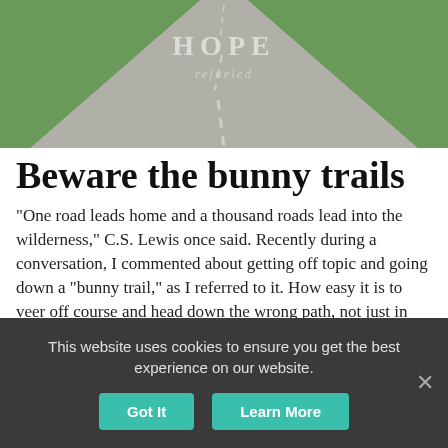[Figure (photo): A straight road stretching into the distance through green fields, with the word HOPE overlaid in faint white text on the road surface.]
Beware the bunny trails
“One road leads home and a thousand roads lead into the wilderness,” C.S. Lewis once said. Recently during a conversation, I commented about getting off topic and going down a “bunny trail,” as I referred to it. How easy it is to veer off course and head down the wrong path, not just in conversation, but in our walk with God as well.
The book of Proverbs is filled with references to pathways and footsteps, walking and ways. The book of Proverbs is widely attributed to Solomon, and each chapter is filled with
This website uses cookies to ensure you get the best experience on our website.